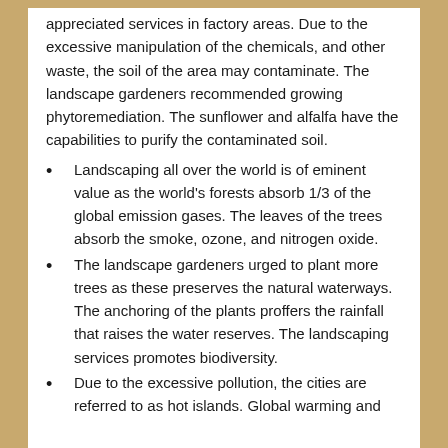appreciated services in factory areas. Due to the excessive manipulation of the chemicals, and other waste, the soil of the area may contaminate. The landscape gardeners recommended growing phytoremediation. The sunflower and alfalfa have the capabilities to purify the contaminated soil.
Landscaping all over the world is of eminent value as the world's forests absorb 1/3 of the global emission gases. The leaves of the trees absorb the smoke, ozone, and nitrogen oxide.
The landscape gardeners urged to plant more trees as these preserves the natural waterways. The anchoring of the plants proffers the rainfall that raises the water reserves. The landscaping services promotes biodiversity.
Due to the excessive pollution, the cities are referred to as hot islands. Global warming and